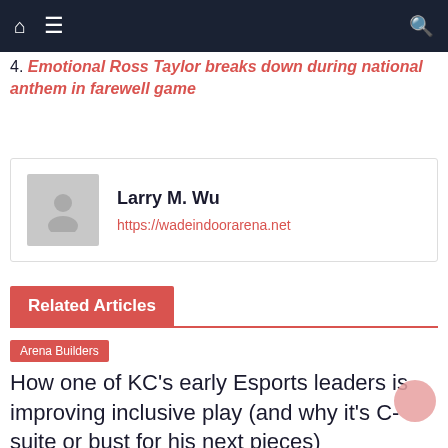Navigation bar with home, menu, and search icons
4. Emotional Ross Taylor breaks down during national anthem in farewell game
Larry M. Wu
https://wadeindoorarena.net
Related Articles
Arena Builders
How one of KC's early Esports leaders is improving inclusive play (and why it's C-suite or bust for his next pieces)